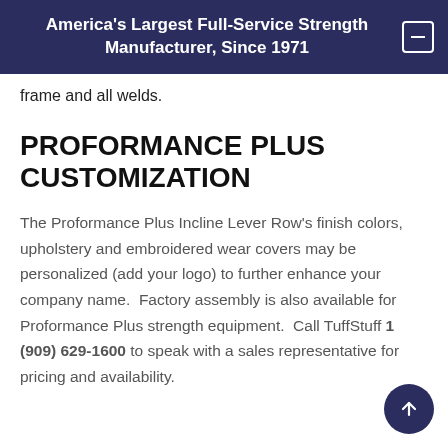America's Largest Full-Service Strength Manufacturer, Since 1971
frame and all welds.
PROFORMANCE PLUS CUSTOMIZATION
The Proformance Plus Incline Lever Row's finish colors, upholstery and embroidered wear covers may be personalized (add your logo) to further enhance your company name.  Factory assembly is also available for Proformance Plus strength equipment.  Call TuffStuff 1 (909) 629-1600 to speak with a sales representative for pricing and availability.